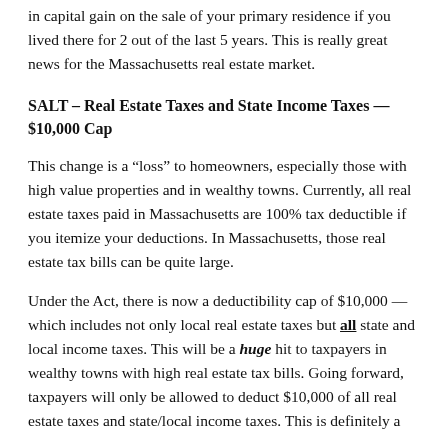in capital gain on the sale of your primary residence if you lived there for 2 out of the last 5 years. This is really great news for the Massachusetts real estate market.
SALT – Real Estate Taxes and State Income Taxes — $10,000 Cap
This change is a “loss” to homeowners, especially those with high value properties and in wealthy towns. Currently, all real estate taxes paid in Massachusetts are 100% tax deductible if you itemize your deductions. In Massachusetts, those real estate tax bills can be quite large.
Under the Act, there is now a deductibility cap of $10,000 — which includes not only local real estate taxes but all state and local income taxes. This will be a huge hit to taxpayers in wealthy towns with high real estate tax bills. Going forward, taxpayers will only be allowed to deduct $10,000 of all real estate taxes and state/local income taxes. This is definitely a